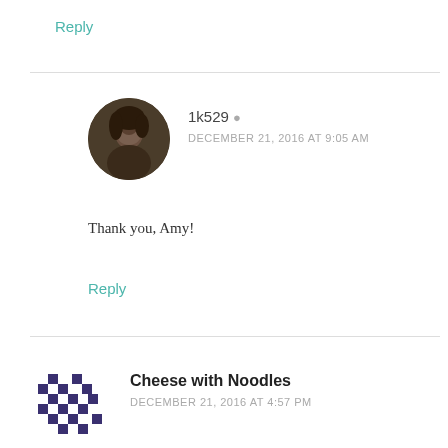Reply
1k529 · DECEMBER 21, 2016 AT 9:05 AM
Thank you, Amy!
Reply
Cheese with Noodles · DECEMBER 21, 2016 AT 4:57 PM
These sound so good! Why had I never thought of melting caramel like that to use as a cookie topping? Gaming, I'll get this on the list to make soon, t...